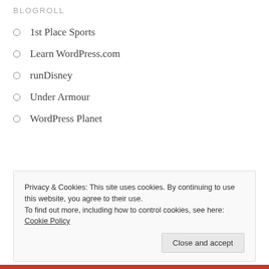BLOGROLL
1st Place Sports
Learn WordPress.com
runDisney
Under Armour
WordPress Planet
META
Register
Log in
Privacy & Cookies: This site uses cookies. By continuing to use this website, you agree to their use.
To find out more, including how to control cookies, see here: Cookie Policy
Close and accept